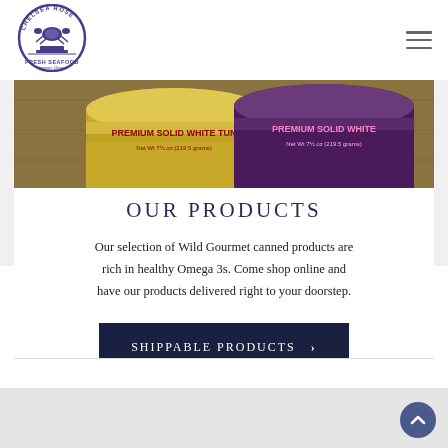[Figure (logo): Chelsea Rose Fresh Seafood Newport Oregon circular logo with crab and boat illustration]
[Figure (photo): Two canned tuna products labeled PREMIUM SOLID WHITE TUN, Net Wt 7.5 oz (219.5 grams), one gold/yellow can and one purple can on a wooden surface]
OUR PRODUCTS
Our selection of Wild Gourmet canned products are rich in healthy Omega 3s. Come shop online and have our products delivered right to your doorstep.
SHIPPABLE PRODUCTS  ›